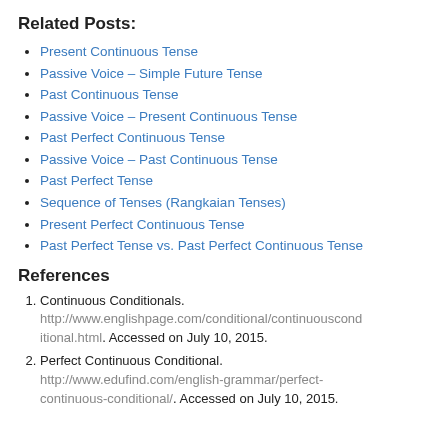Related Posts:
Present Continuous Tense
Passive Voice – Simple Future Tense
Past Continuous Tense
Passive Voice – Present Continuous Tense
Past Perfect Continuous Tense
Passive Voice – Past Continuous Tense
Past Perfect Tense
Sequence of Tenses (Rangkaian Tenses)
Present Perfect Continuous Tense
Past Perfect Tense vs. Past Perfect Continuous Tense
References
1. Continuous Conditionals. http://www.englishpage.com/conditional/continuousconditional.html. Accessed on July 10, 2015.
2. Perfect Continuous Conditional. http://www.edufind.com/english-grammar/perfect-continuous-conditional/. Accessed on July 10, 2015.